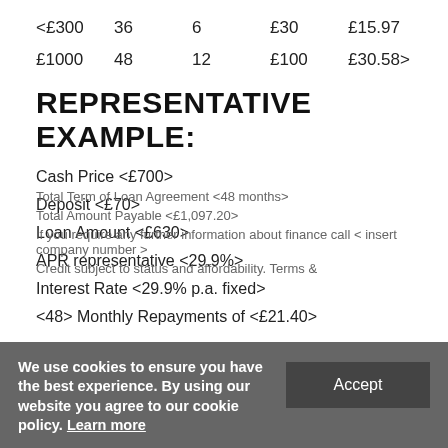| <£300 | 36 | 6 | £30 | £15.97 |
| £1000 | 48 | 12 | £100 | £30.58> |
REPRESENTATIVE EXAMPLE:
Cash Price <£700>
Deposit <£70>
Loan Amount <£630>
APR representative <29.9%>
Interest Rate <29.9% p.a. fixed>
<48> Monthly Repayments of <£21.40>
Total Term of Loan Agreement <48 months>
Total Amount Payable <£1,097.20>
If you require any further information about finance call < insert company number >
Credit subject to status and affordability. Terms &
We use cookies to ensure you have the best experience. By using our website you agree to our cookie policy. Learn more